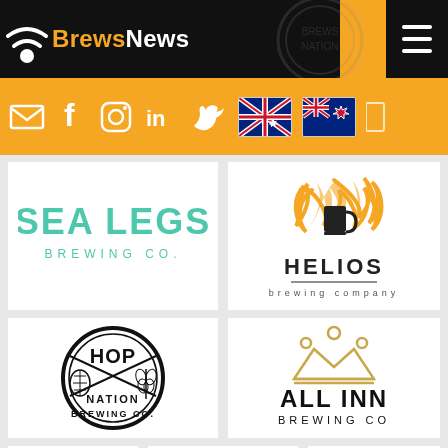[Figure (logo): BrewsNews website header with orange background, black logo box with BrewsNews text, social media icons (email, facebook, instagram, linkedin, twitter), Australian and NZ flags, and hamburger menu]
[Figure (logo): Sea Legs Brewing Co. logo — teal/turquoise bold lettering]
[Figure (logo): Helios Brewing Company logo — orange flame/sun with beer mug, bold black text]
[Figure (logo): Hop Nation Brewing Co. logo — circular black and white badge with crossed hop and wheat]
[Figure (logo): All Inn Brewing Co logo — gold crown / mountain geometric design, bold black text]
[Figure (logo): Partial logos visible at bottom: dark circular brewery logo, Mismatch Brewing circular logo, Townsville partial logo]